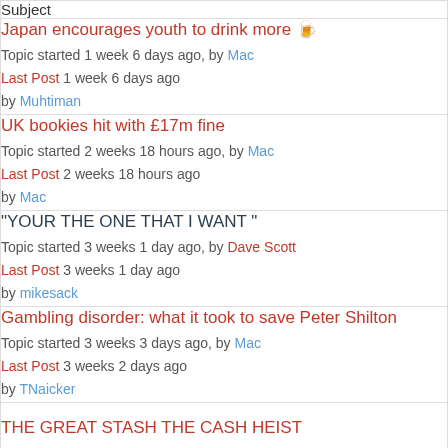| Subject |
| --- |
| Japan encourages youth to drink more 🍺
Topic started 1 week 6 days ago, by Mac
Last Post 1 week 6 days ago
by Muhtiman |
| UK bookies hit with £17m fine
Topic started 2 weeks 18 hours ago, by Mac
Last Post 2 weeks 18 hours ago
by Mac |
| "YOUR THE ONE THAT I WANT "
Topic started 3 weeks 1 day ago, by Dave Scott
Last Post 3 weeks 1 day ago
by mikesack |
| Gambling disorder: what it took to save Peter Shilton
Topic started 3 weeks 3 days ago, by Mac
Last Post 3 weeks 2 days ago
by TNaicker |
| THE GREAT STASH THE CASH HEIST |